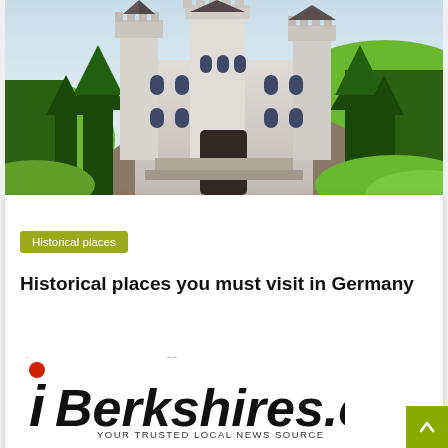[Figure (photo): Neuschwanstein Castle perched on a rocky hill surrounded by lush green forests in Germany, with alpine landscape visible in the background]
Historical places
Historical places you must visit in Germany
Patrick F. Williams   March 22, 2022
[Figure (logo): iBerkshires.com logo with red dot above the i, bold italic text, tagline: YOUR TRUSTED LOCAL NEWS SOURCE]